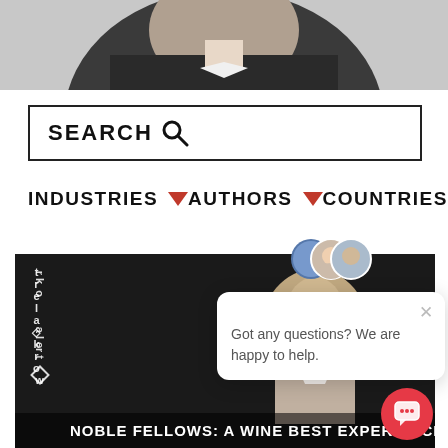[Figure (photo): Partial photo of a person in dark clothing, cropped at top of page]
SEARCH 🔍
INDUSTRIES ▼   AUTHORS ▼   COUNTRIES ▼
[Figure (screenshot): Article card with dark background showing 'NOBLE FELLOWS: A WINE BEST EXPERIENCED' with 'work◇alert' watermark vertically on left side]
Got any questions? We are happy to help.